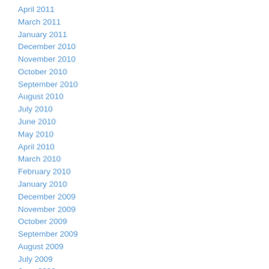April 2011
March 2011
January 2011
December 2010
November 2010
October 2010
September 2010
August 2010
July 2010
June 2010
May 2010
April 2010
March 2010
February 2010
January 2010
December 2009
November 2009
October 2009
September 2009
August 2009
July 2009
June 2009
May 2009
April 2009
March 2009
February 2009
January 2009